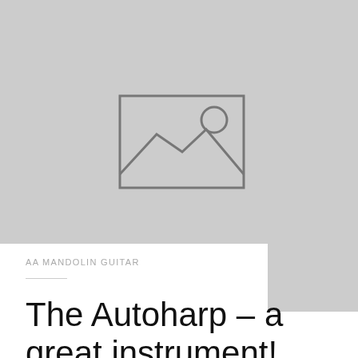[Figure (photo): Image placeholder with grey background showing a generic image icon (mountain landscape with sun) centered on the upper portion of the page]
AA MANDOLIN GUITAR
The Autoharp – a great instrument!